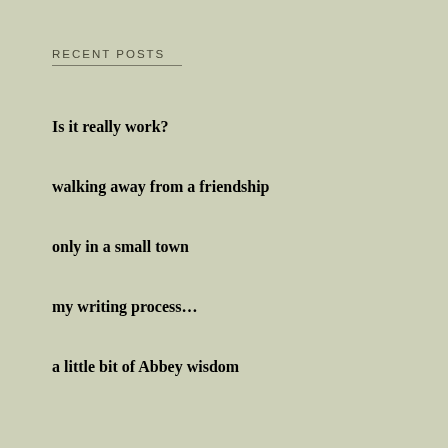RECENT POSTS
Is it really work?
walking away from a friendship
only in a small town
my writing process…
a little bit of Abbey wisdom